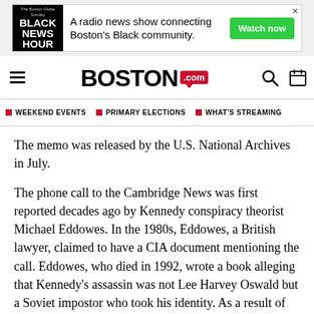[Figure (other): Advertisement banner for Black News Hour radio show with green Watch now button]
BOSTON.com navigation header with hamburger menu, BOSTON.com logo, search and calendar icons
WEEKEND EVENTS | PRIMARY ELECTIONS | WHAT'S STREAMING
The memo was released by the U.S. National Archives in July.
The phone call to the Cambridge News was first reported decades ago by Kennedy conspiracy theorist Michael Eddowes. In the 1980s, Eddowes, a British lawyer, claimed to have a CIA document mentioning the call. Eddowes, who died in 1992, wrote a book alleging that Kennedy's assassin was not Lee Harvey Oswald but a Soviet impostor who took his identity. As a result of his efforts, the